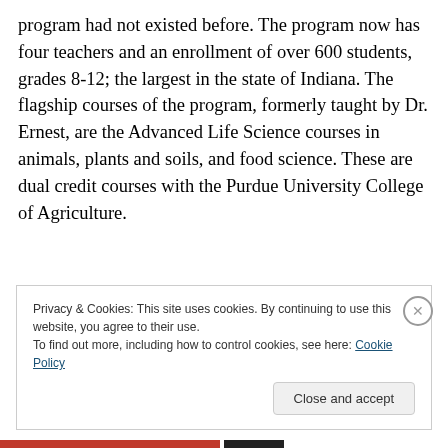program had not existed before. The program now has four teachers and an enrollment of over 600 students, grades 8-12; the largest in the state of Indiana. The flagship courses of the program, formerly taught by Dr. Ernest, are the Advanced Life Science courses in animals, plants and soils, and food science. These are dual credit courses with the Purdue University College of Agriculture.
Privacy & Cookies: This site uses cookies. By continuing to use this website, you agree to their use. To find out more, including how to control cookies, see here: Cookie Policy